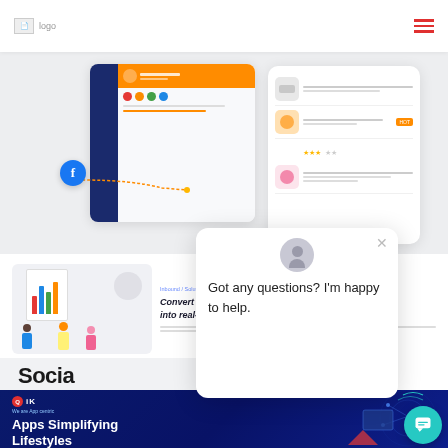logo [navigation with hamburger menu]
[Figure (screenshot): App UI mockup showing a mobile app interface with dark sidebar, orange header bar, social media icons row, and a Facebook button overlay, alongside a white card showing list items with product thumbnails and ratings]
[Figure (screenshot): Website section showing an illustration of people presenting a chart/presentation with text 'Convert your marketing into real-world visits.' and a breadcrumb 'Inbound / Solutions']
Socia
[Figure (screenshot): Dark blue app promotion section with QiK logo, tagline 'We are App centric', headline 'Apps Simplifying Lifestyles', and network/tech illustration]
[Figure (screenshot): Chat popup overlay showing a user avatar, close button, and message: 'Got any questions? I'm happy to help.']
[Figure (other): Teal chat FAB (floating action button) with chat icon in bottom right]